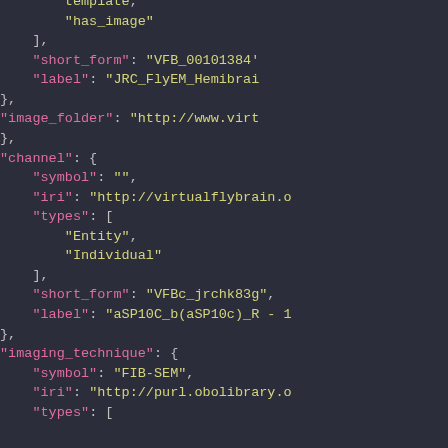JSON/code snippet showing template, has_image, short_form, label, image_folder, channel, symbol, iri, types, short_form, label, imaging_technique fields